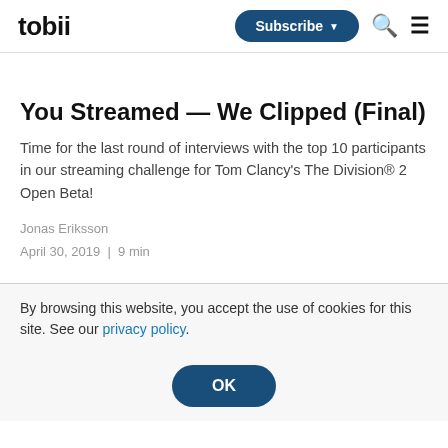tobii | Subscribe | Search | Menu
You Streamed — We Clipped (Final)
Time for the last round of interviews with the top 10 participants in our streaming challenge for Tom Clancy's The Division® 2 Open Beta!
Jonas Eriksson
April 30, 2019  |  9 min
By browsing this website, you accept the use of cookies for this site. See our privacy policy.
OK